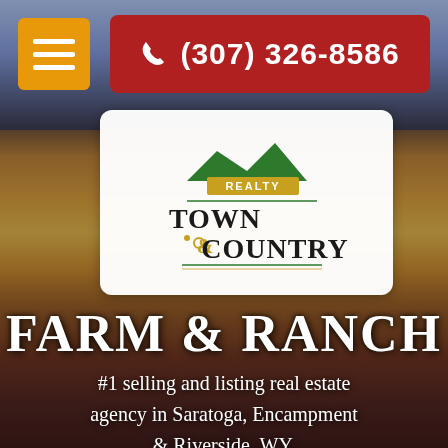[Figure (screenshot): Background landscape photo of ranch/farm at sunset with wooden fence posts and dramatic sky]
[Figure (logo): Town & Country Realty logo — green mountain silhouette above gold banner with 'REALTY', text 'TOWN & COUNTRY' in dark serif below, decorative vine/circle element]
(307) 326-8586
FARM & RANCH
#1 selling and listing real estate agency in Saratoga, Encampment & Riverside, WY.